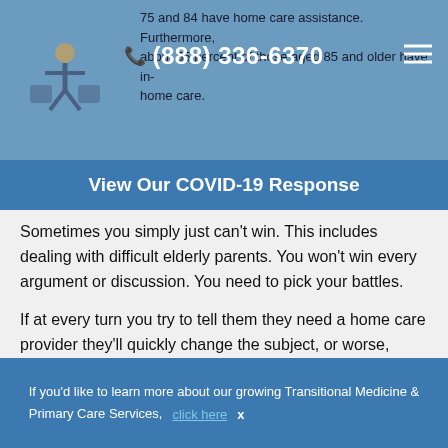75 and 84 have home care assistance. Furthermore, about 55 percent of those aged 85 and older have in-home care.
View Our COVID-19 Response
Sometimes you simply just can't win. This includes dealing with difficult elderly parents. You won't win every argument or discussion. You need to pick your battles.
If at every turn you try to tell them they need a home care provider they'll quickly change the subject, or worse, they'll leave the room. They'll probably start seeing less and less of you, and stop taking your calls as much too.
If you'd like to learn more about our growing Transitional Medicine & Primary Care Services, click here